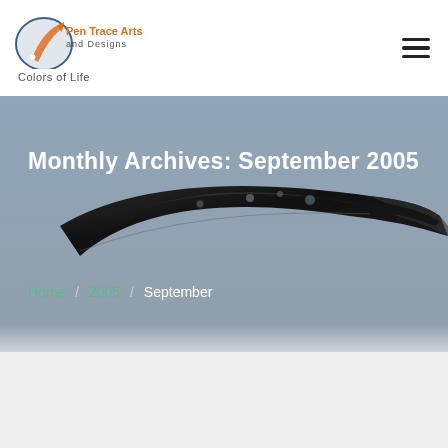[Figure (logo): Pen Trace Arts and Designs logo with pen/quill icon and orange/blue text]
Colors of Life
[Figure (illustration): Dark glossy object (appears to be a decorative pen or similar instrument) on a gray-blue background]
Monthly Archives: September 2005
Home / 2005 / September